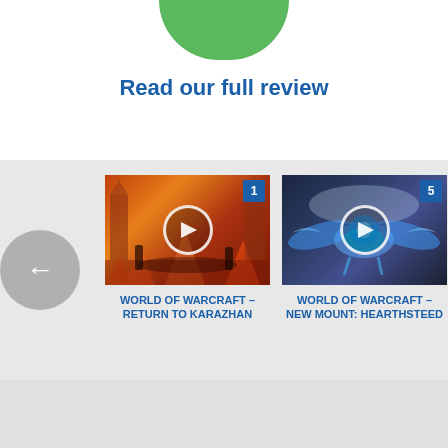[Figure (screenshot): Green circle/badge partially visible at top of page]
Read our full review
[Figure (screenshot): Video thumbnail for World of Warcraft - Return to Karazhan, shows fiery dungeon scene with play button, badge number 1]
WORLD OF WARCRAFT – RETURN TO KARAZHAN
[Figure (screenshot): Video thumbnail for World of Warcraft - New Mount: Hearthsteed, shows glowing blue flying mount, badge number 5]
WORLD OF WARCRAFT – NEW MOUNT: HEARTHSTEED
[Figure (screenshot): Partially visible video thumbnail with green/purple scene, title partially visible starting with WOR... LEG...]